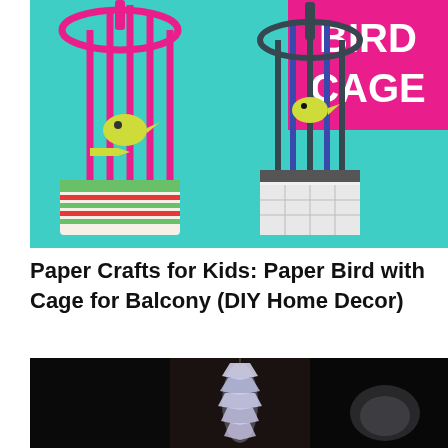[Figure (photo): Colorful paper bird cages craft on a teal background. Two decorated cylindrical cages with pink and green paper strips, and yellow paper birds inside. A hot pink banner in the top right reads BIRD CAGE in white bold text.]
Paper Crafts for Kids: Paper Bird with Cage for Balcony (DIY Home Decor)
[Figure (photo): Dark background photo showing a translucent white/clear sculptural object resembling stacked ice crystals or crumpled plastic, lit from behind, on a dark surface.]